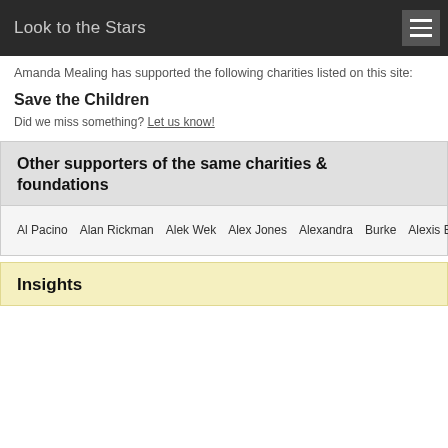Look to the Stars
Amanda Mealing has supported the following charities listed on this site:
Save the Children
Did we miss something? Let us know!
Other supporters of the same charities & foundations
Al Pacino · Alan Rickman · Alek Wek · Alex Jones · Alexandra Burke · Alexis Bledel · Ali Wentworth · All Blacks · Ally Walker · Alyson Hannigan · America Ferrera · Ann Curry · Anne Geddes · Annie Lennox · Arsenal
Insights